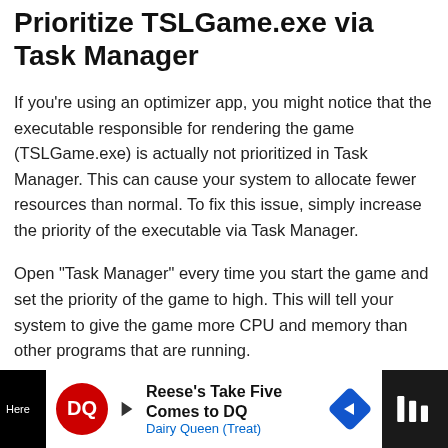Prioritize TSLGame.exe via Task Manager
If you're using an optimizer app, you might notice that the executable responsible for rendering the game (TSLGame.exe) is actually not prioritized in Task Manager. This can cause your system to allocate fewer resources than normal. To fix this issue, simply increase the priority of the executable via Task Manager.
Open “Task Manager” every time you start the game and set the priority of the game to high. This will tell your system to give the game more CPU and memory than other programs that are running.
[Figure (screenshot): Advertisement banner for Dairy Queen: 'Reese's Take Five Comes to DQ' with DQ logo, blue arrow icon, and video controls on right]